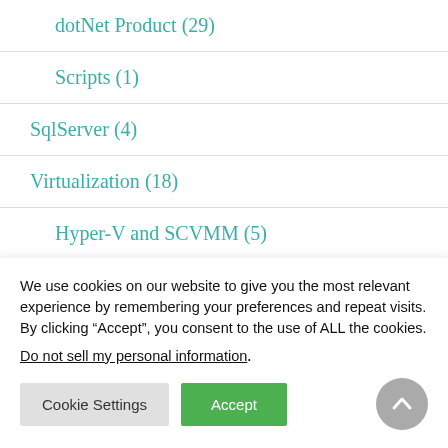dotNet Product (29)
Scripts (1)
SqlServer (4)
Virtualization (18)
Hyper-V and SCVMM (5)
VMWare vSphere (14)
We use cookies on our website to give you the most relevant experience by remembering your preferences and repeat visits. By clicking “Accept”, you consent to the use of ALL the cookies.
Do not sell my personal information.